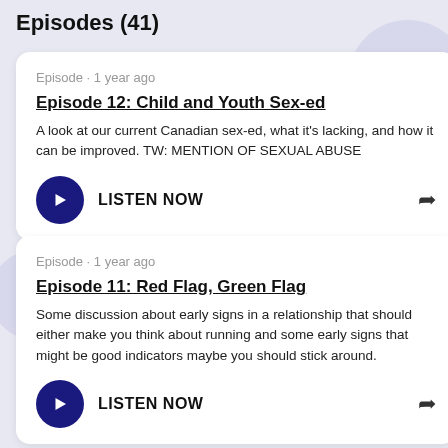Episodes (41)
Episode · 1 year ago
Episode 12: Child and Youth Sex-ed
A look at our current Canadian sex-ed, what it's lacking, and how it can be improved. TW: MENTION OF SEXUAL ABUSE
LISTEN NOW
Episode · 1 year ago
Episode 11: Red Flag, Green Flag
Some discussion about early signs in a relationship that should either make you think about running and some early signs that might be good indicators maybe you should stick around.
LISTEN NOW